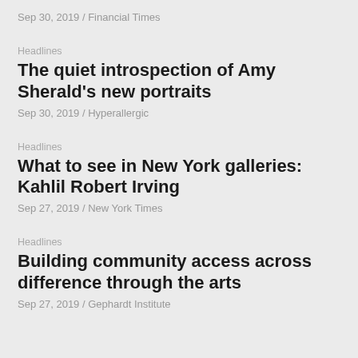Sep 30, 2019 / Financial Times
Headlines
The quiet introspection of Amy Sherald's new portraits
Sep 30, 2019 / Hyperallergic
Headlines
What to see in New York galleries: Kahlil Robert Irving
Sep 27, 2019 / New York Times
Headlines
Building community access across difference through the arts
Sep 27, 2019 / Gephardt Institute